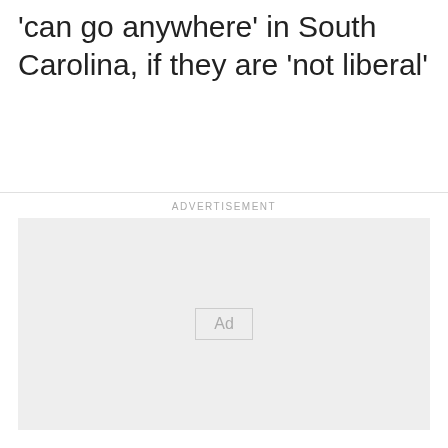'can go anywhere' in South Carolina, if they are 'not liberal'
ADVERTISEMENT
[Figure (other): Advertisement placeholder box with 'Ad' label in center on light gray background]